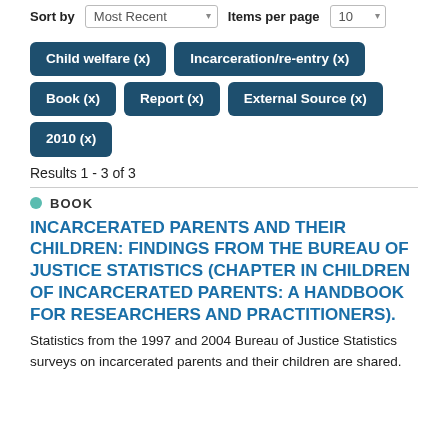Sort by Most Recent | Items per page 10
Child welfare (x)
Incarceration/re-entry (x)
Book (x)
Report (x)
External Source (x)
2010 (x)
Results 1 - 3 of 3
BOOK
INCARCERATED PARENTS AND THEIR CHILDREN: FINDINGS FROM THE BUREAU OF JUSTICE STATISTICS (CHAPTER IN CHILDREN OF INCARCERATED PARENTS: A HANDBOOK FOR RESEARCHERS AND PRACTITIONERS).
Statistics from the 1997 and 2004 Bureau of Justice Statistics surveys on incarcerated parents and their children are shared.